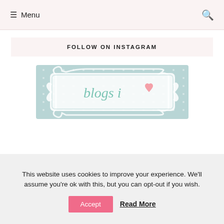☰ Menu 🔍
FOLLOW ON INSTAGRAM
[Figure (illustration): Decorative banner image with light blue dotted background and ornate white frame containing the text 'blogs i ♥' in mint green with a pink heart icon]
This website uses cookies to improve your experience. We'll assume you're ok with this, but you can opt-out if you wish.
Accept   Read More